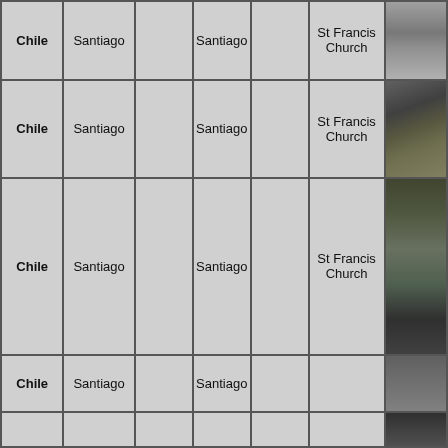| Country | City |  | City2 |  | Place | Photo |
| --- | --- | --- | --- | --- | --- | --- |
| Chile | Santiago |  | Santiago |  | St Francis Church | [photo] |
| Chile | Santiago |  | Santiago |  | St Francis Church | [photo] |
| Chile | Santiago |  | Santiago |  | St Francis Church | [photo] |
| Chile | Santiago |  | Santiago |  |  | [photo] |
|  |  |  |  |  |  | [photo] |